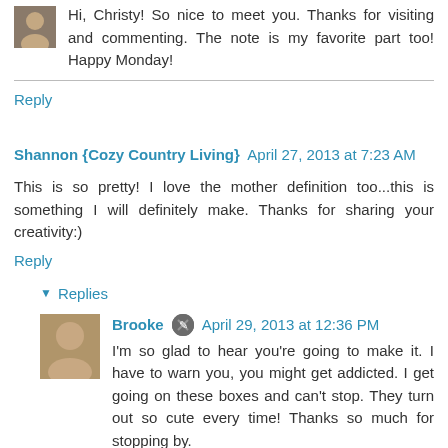Hi, Christy! So nice to meet you. Thanks for visiting and commenting. The note is my favorite part too! Happy Monday!
Reply
Shannon {Cozy Country Living} April 27, 2013 at 7:23 AM
This is so pretty! I love the mother definition too...this is something I will definitely make. Thanks for sharing your creativity:)
Reply
Replies
Brooke April 29, 2013 at 12:36 PM
I'm so glad to hear you're going to make it. I have to warn you, you might get addicted. I get going on these boxes and can't stop. They turn out so cute every time! Thanks so much for stopping by.